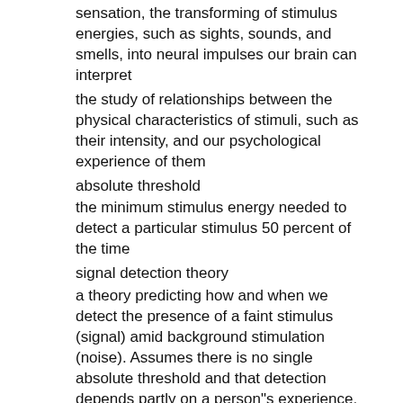sensation, the transforming of stimulus energies, such as sights, sounds, and smells, into neural impulses our brain can interpret
the study of relationships between the physical characteristics of stimuli, such as their intensity, and our psychological experience of them
absolute threshold
the minimum stimulus energy needed to detect a particular stimulus 50 percent of the time
signal detection theory
a theory predicting how and when we detect the presence of a faint stimulus (signal) amid background stimulation (noise). Assumes there is no single absolute threshold and that detection depends partly on a person"s experience, expectations, motivation and alertness.
subliminal
below one"s absolute threshold for conscious awareness